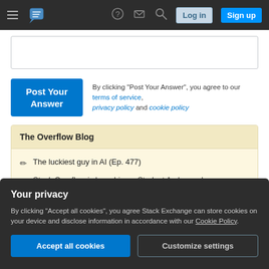Stack Overflow navigation bar with Log in and Sign up buttons
[Figure (screenshot): Empty text input area for answer submission]
By clicking "Post Your Answer", you agree to our terms of service, privacy policy and cookie policy
The Overflow Blog
The luckiest guy in AI (Ep. 477)
Stack Overflow is launching a Student Ambassador program. Here's how to apply.
Your privacy
By clicking "Accept all cookies", you agree Stack Exchange can store cookies on your device and disclose information in accordance with our Cookie Policy.